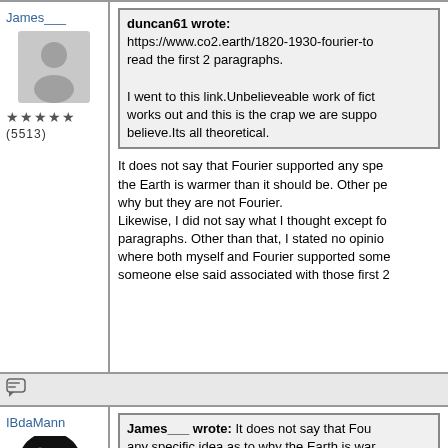James___
[Figure (illustration): Generic user avatar silhouette in grey]
★★★★★ (5513)
duncan61 wrote: https://www.co2.earth/1820-1930-fourier-to... read the first 2 paragraphs. I went to this link.Unbelieveable work of fict... works out and this is the crap we are suppo... believe.Its all theoretical.
It does not say that Fourier supported any spe... the Earth is warmer than it should be. Other pe... why but they are not Fourier. Likewise, I did not say what I thought except fo... paragraphs. Other than that, I stated no opinio... where both myself and Fourier supported some... someone else said associated with those first 2...
[Figure (illustration): Chat/reply icon]
IBdaMann
[Figure (illustration): IBDaMann avatar - black head silhouette with gear icons and red IBDaMann text]
James___ wrote: It does not say that Fouri... any specific idea as to why the Earth is war... should be.
... and no scientist assumes the subjunctive, e... some other temperature that the earth "should"...